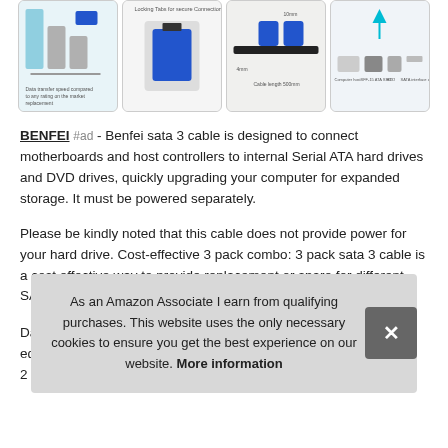[Figure (photo): Four product thumbnail images of SATA cables in a horizontal strip]
BENFEI #ad - Benfei sata 3 cable is designed to connect motherboards and host controllers to internal Serial ATA hard drives and DVD drives, quickly upgrading your computer for expanded storage. It must be powered separately.
Please be kindly noted that this cable does not provide power for your hard drive. Cost-effective 3 pack combo: 3 pack sata 3 cable is a cost effective way to provide replacement or spare for different SATA systems or for RAID configuration.
Data...equ...
As an Amazon Associate I earn from qualifying purchases. This website uses the only necessary cookies to ensure you get the best experience on our website. More information